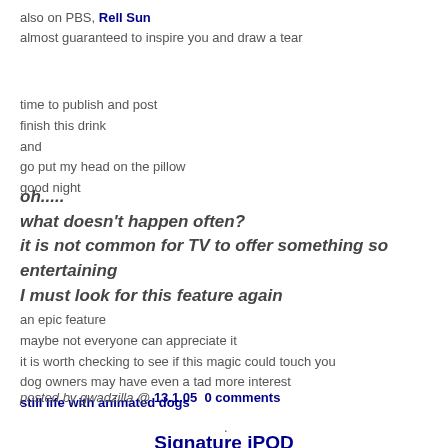also on PBS, Rell Sun
almost guaranteed to inspire you and draw a tear
time to publish and post
finish this drink
and
go put my head on the pillow
good night
oh.....
what doesn't happen often?
it is not common for TV to offer something so entertaining
I must look for this feature again
an epic feature
maybe not everyone can appreciate it
it is worth checking to see if this magic could touch you
dog owners may have even a tad more interest
still life with animated dogs
posted by gwadzilla @ 13.1.05  0 comments
.
Signature iPOD